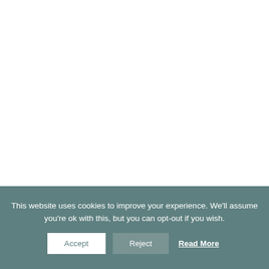This website uses cookies to improve your experience. We'll assume you're ok with this, but you can opt-out if you wish.
Accept
Reject
Read More